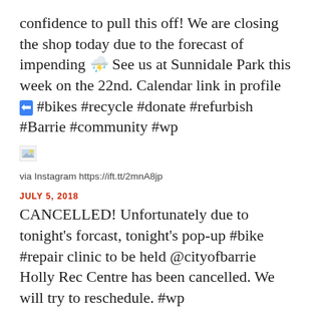confidence to pull this off! We are closing the shop today due to the forecast of impending ⛈ See us at Sunnidale Park this week on the 22nd. Calendar link in profile ⬅ #bikes #recycle #donate #refurbish #Barrie #community #wp
[Figure (other): Broken/missing image placeholder icon]
via Instagram https://ift.tt/2mnA8jp
JULY 5, 2018
CANCELLED! Unfortunately due to tonight's forcast, tonight's pop-up #bike #repair clinic to be held @cityofbarrie Holly Rec Centre has been cancelled. We will try to reschedule. #wp